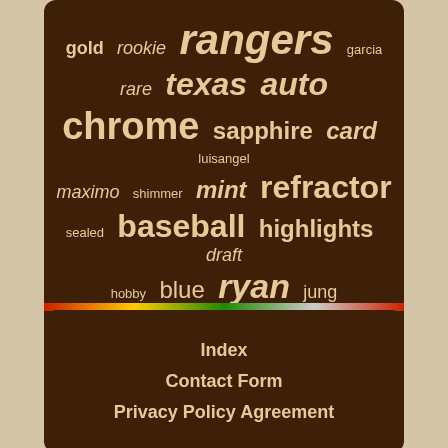[Figure (infographic): Word cloud on dark brown background with baseball card related terms in varying sizes. Words include: rangers, rookie, gold, garcia, texas, auto, rare, chrome, sapphire, card, luisangel, maximo, shimmer, mint, refractor, sealed, baseball, highlights, draft, hobby, blue, ryan, jung, autograph, rodriguez, acosta, donruss, jersey, josh, signed, bowman]
Index
Contact Form
Privacy Policy Agreement